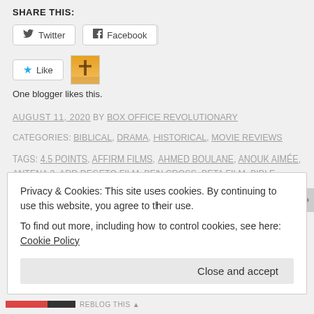SHARE THIS:
Twitter  Facebook (share buttons)
Like  [blogger avatar]
One blogger likes this.
AUGUST 11, 2020 BY BOX OFFICE REVOLUTIONARY
CATEGORIES: BIBLICAL, DRAMA, HISTORICAL, MOVIE REVIEWS
TAGS: 4.5 POINTS, AFFIRM FILMS, AHMED BOULANE, ANOUK AIMÉE, ANTENA 3, ARD DEGETO FILM, BEN CROSS, BETA FILM, BIBLE, BIBLICAL, BRADLEY T. WINTER, BRITISH SKY BROADCASTING, ČESKÁ TELEVIZE, CON DIOS ENTERTAINMENT, DAVID SUCHET, DEXTER FLETCHER, DRAMA, ELEONORA ANDREATTA, ENNIO MORRICONE, G.W. BAILEY, HEINRICH KRAUSS, HISTORICAL, IVAN KANE, LORENZO MINOLI, LUBE PRODUCTIONS
Privacy & Cookies: This site uses cookies. By continuing to use this website, you agree to their use. To find out more, including how to control cookies, see here: Cookie Policy
Close and accept